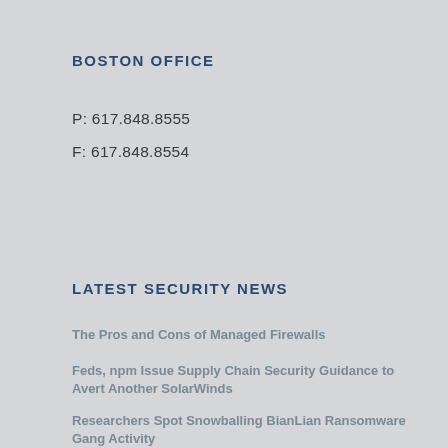BOSTON OFFICE
P: 617.848.8555
F: 617.848.8554
LATEST SECURITY NEWS
The Pros and Cons of Managed Firewalls
Feds, npm Issue Supply Chain Security Guidance to Avert Another SolarWinds
Researchers Spot Snowballing BianLian Ransomware Gang Activity
4 Scenarios for the Digital World of 2040